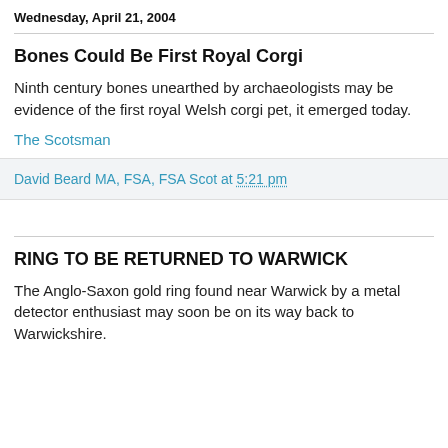Wednesday, April 21, 2004
Bones Could Be First Royal Corgi
Ninth century bones unearthed by archaeologists may be evidence of the first royal Welsh corgi pet, it emerged today.
The Scotsman
David Beard MA, FSA, FSA Scot at 5:21 pm
RING TO BE RETURNED TO WARWICK
The Anglo-Saxon gold ring found near Warwick by a metal detector enthusiast may soon be on its way back to Warwickshire.